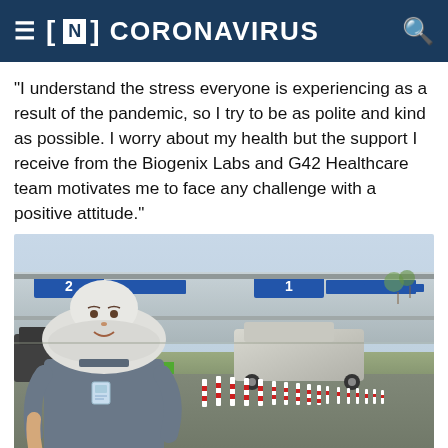≡ [N] CORONAVIRUS 🔍
"I understand the stress everyone is experiencing as a result of the pandemic, so I try to be as polite and kind as possible. I worry about my health but the support I receive from the Biogenix Labs and G42 Healthcare team motivates me to face any challenge with a positive attitude."
[Figure (photo): A healthcare worker wearing a white hijab and grey scrubs with an ID badge stands smiling at a COVID-19 drive-through screening station. Red and white bollards line a roadway behind her, with numbered screening stations (1 and 2) visible in the background along with parked vehicles.]